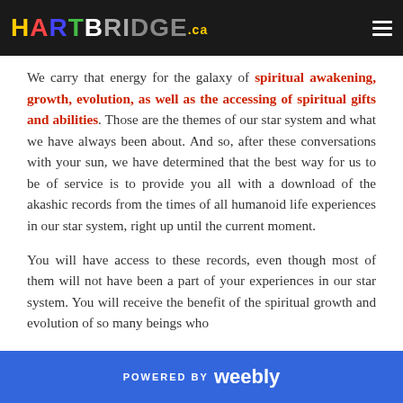HARTBRIDGE.ca
We carry that energy for the galaxy of spiritual awakening, growth, evolution, as well as the accessing of spiritual gifts and abilities. Those are the themes of our star system and what we have always been about. And so, after these conversations with your sun, we have determined that the best way for us to be of service is to provide you all with a download of the akashic records from the times of all humanoid life experiences in our star system, right up until the current moment.
You will have access to these records, even though most of them will not have been a part of your experiences in our star system. You will receive the benefit of the spiritual growth and evolution of so many beings who
POWERED BY weebly